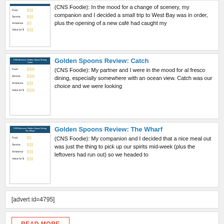[Figure (other): Thumbnail image of a restaurant rating card with blue header and fork/spoon rating icons for Food, Service, Ambience, Value for $]
(CNS Foodie): In the mood for a change of scenery, my companion and I decided a small trip to West Bay was in order, plus the opening of a new café had caught my
[Figure (other): Thumbnail image labeled CNS Business: Golden Spoon Rating - Catch, with blue header and fork rating icons for Food, Service, Ambience, Value for $]
Golden Spoons Review: Catch
(CNS Foodie): My partner and I were in the mood for al fresco dining, especially somewhere with an ocean view. Catch was our choice and we were looking
[Figure (other): Thumbnail image labeled CNS Business: Golden Spoon Rating - The Wharf, with blue header and fork rating icons for Food, Service, Ambience, Value for $]
Golden Spoons Review: The Wharf
(CNS Foodie): My companion and I decided that a nice meal out was just the thing to pick up our spirits mid-week (plus the leftovers had run out) so we headed to
[advert id=4795]
READ MORE
[advert id=2052]